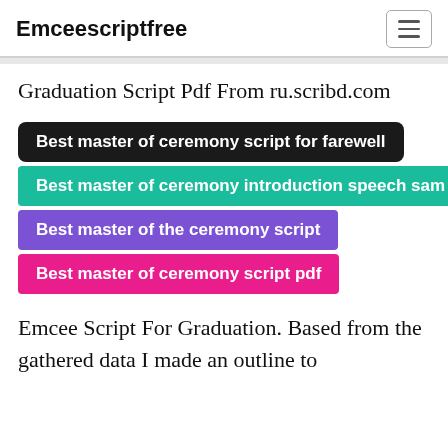Emceescriptfree
Graduation Script Pdf From ru.scribd.com
Best master of ceremony script for farewell
Best master of ceremony introduction speech sam
Best master of the ceremony script
Best master of ceremony script pdf
Emcee Script For Graduation. Based from the gathered data I made an outline to